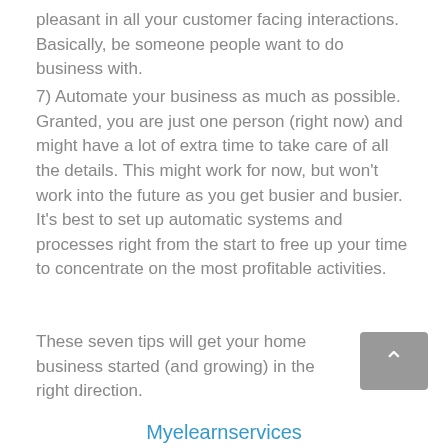pleasant in all your customer facing interactions. Basically, be someone people want to do business with.
7) Automate your business as much as possible. Granted, you are just one person (right now) and might have a lot of extra time to take care of all the details. This might work for now, but won’t work into the future as you get busier and busier. It’s best to set up automatic systems and processes right from the start to free up your time to concentrate on the most profitable activities.
These seven tips will get your home business started (and growing) in the right direction.
Myelearnservices